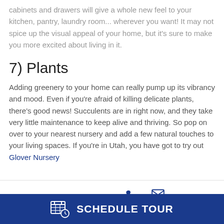cabinets and drawers will give a whole new feel to your kitchen, pantry, laundry room... wherever you want! It may not spice up the visual appeal of your home, but it's sure to make you more excited about living in it.
7) Plants
Adding greenery to your home can really pump up its vibrancy and mood. Even if you're afraid of killing delicate plants, there's good news! Succulents are in right now, and they take very little maintenance to keep alive and thriving. So pop on over to your nearest nursery and add a few natural touches to your living spaces. If you're in Utah, you have got to try out Glover Nursery
QUESTIONS? CALL EMAIL SCHEDULE TOUR